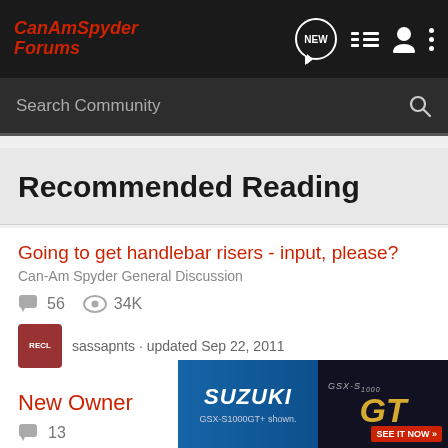CanAmSpyder Forums
Search Community
Recommended Reading
Going to get handlebar risers - input, please?
Can-Am Spyder General Discussion
56 replies · 34K views · sassapnts · updated Sep 22, 2011
New Owner
Can-Am
13
[Figure (advertisement): Suzuki GSX-S1000GT advertisement banner with motorcycle image and 'SEE IT NOW >>' button]